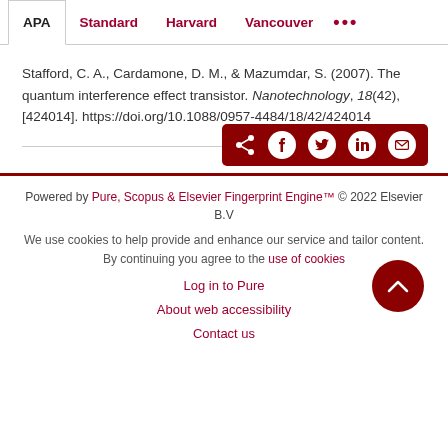APA | Standard | Harvard | Vancouver | ...
Stafford, C. A., Cardamone, D. M., & Mazumdar, S. (2007). The quantum interference effect transistor. Nanotechnology, 18(42), [424014]. https://doi.org/10.1088/0957-4484/18/42/424014
[Figure (infographic): Dark red share bar with share icon and social media icons: Facebook, Twitter, LinkedIn, Email]
Powered by Pure, Scopus & Elsevier Fingerprint Engine™ © 2022 Elsevier B.V
We use cookies to help provide and enhance our service and tailor content. By continuing you agree to the use of cookies
Log in to Pure
About web accessibility
Contact us